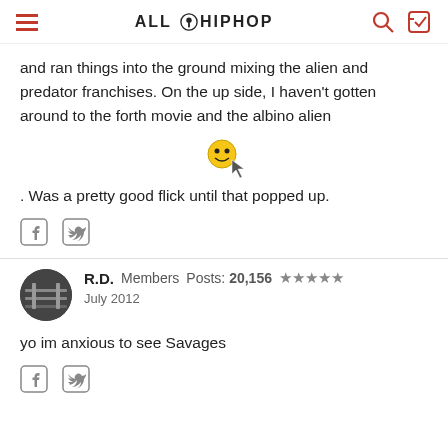ALL HIP HOP
and ran things into the ground mixing the alien and predator franchises. On the up side, I haven't gotten around to the forth movie and the albino alien
[Figure (illustration): Yellow emoji / cursor icon]
. Was a pretty good flick until that popped up.
[Twitter share icon] [Facebook share icon]
R.D.  Members  Posts: 20,156  ★★★★★
July 2012
yo im anxious to see Savages
[Twitter share icon] [Facebook share icon]